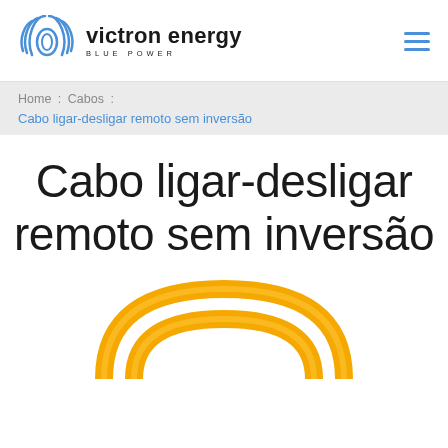[Figure (logo): Victron Energy logo with blue circular wave graphic and text 'victron energy BLUE POWER']
Home : Cabos : Cabo ligar-desligar remoto sem inversão
Cabo ligar-desligar remoto sem inversão
[Figure (photo): Yellow cable coiled in circular loops, partially visible at bottom of page]